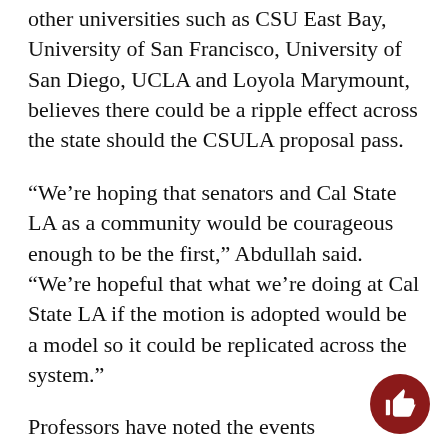other universities such as CSU East Bay, University of San Francisco, University of San Diego, UCLA and Loyola Marymount, believes there could be a ripple effect across the state should the CSULA proposal pass.
“We’re hoping that senators and Cal State LA as a community would be courageous enough to be the first,” Abdullah said. “We’re hopeful that what we’re doing at Cal State LA if the motion is adopted would be a model so it could be replicated across the system.”
Professors have noted the events surrounding CSULA resemble the struggle CSU students and faculty faced in the formation of ethnic studies, which grew out of joint protests at San Francisco State University in 1968.
“Students and community members began to realize